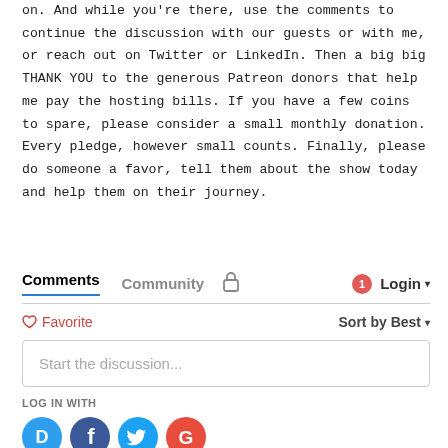on. And while you're there, use the comments to continue the discussion with our guests or with me, or reach out on Twitter or LinkedIn. Then a big big THANK YOU to the generous Patreon donors that help me pay the hosting bills. If you have a few coins to spare, please consider a small monthly donation. Every pledge, however small counts. Finally, please do someone a favor, tell them about the show today and help them on their journey.
Comments   Community   Login
♡ Favorite   Sort by Best
Start the discussion...
LOG IN WITH
[Figure (other): Social login icons: Disqus (blue), Facebook (dark blue), Twitter (light blue), Google (red)]